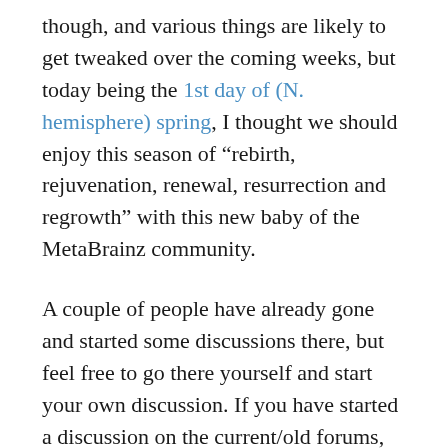though, and various things are likely to get tweaked over the coming weeks, but today being the 1st day of (N. hemisphere) spring, I thought we should enjoy this season of “rebirth, rejuvenation, renewal, resurrection and regrowth” with this new baby of the MetaBrainz community.
A couple of people have already gone and started some discussions there, but feel free to go there yourself and start your own discussion. If you have started a discussion on the current/old forums, now is also a good time to restart/continue/move that discussion to the Discourse site as the forums will be put into read-only mode any day (posts will not be